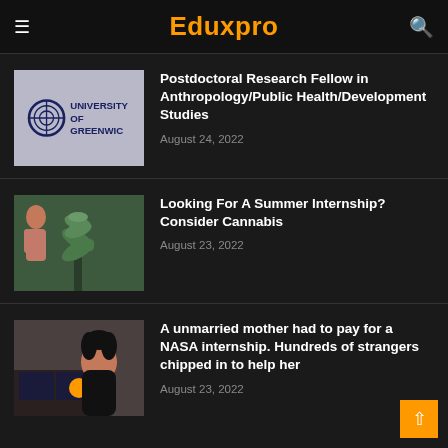Eduxpro
Postdoctoral Research Fellow in Anthropology/Public Health/Development Studies
August 24, 2022
Looking For A Summer Internship? Consider Cannabis
August 23, 2022
A unmarried mother had to pay for a NASA internship. Hundreds of strangers chipped in to help her
August 23, 2022